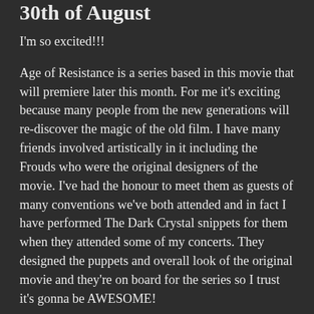30th of August
I'm so excited!!!
Age of Resistance is a series based in this movie that will premiere later this month. For me it's exciting because many people from the new generations will re-discover the magic of the old film. I have many friends involved artistically in it including the Frouds who were the original designers of the movie. I've had the honour to meet them as guests of many conventions we've both attended and in fact I have performed The Dark Crystal snippets for them when they attended some of my concerts. They designed the puppets and overall look of the original movie and they're on board for the series so I trust it's gonna be AWESOME!
Are you excited about the prequel series reboot? I hope many rediscover the magic of the original movie too. If